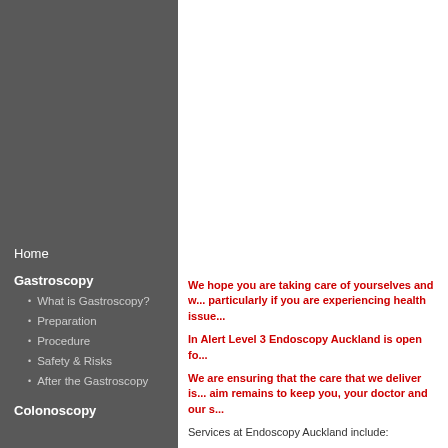Home
Gastroscopy
What is Gastroscopy?
Preparation
Procedure
Safety & Risks
After the Gastroscopy
Colonoscopy
We hope you are taking care of yourselves and v... particularly if you are experiencing health issue...
In Alert Level 3 Endoscopy Auckland is open fo...
We are ensuring that the care that we deliver is... aim remains to keep you, your doctor and our s...
Services at Endoscopy Auckland include:
Gastroscopy
Colonoscopy